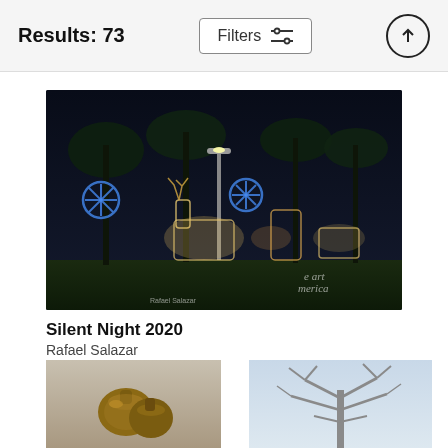Results: 73
[Figure (photo): A nighttime outdoor Christmas display featuring illuminated reindeer, snowflakes, and nativity-style light figures in a tropical park setting with palm trees in the background. Fine Art America watermark visible.]
Silent Night 2020
Rafael Salazar
$22
[Figure (photo): Close-up of brass bells on a light-colored background]
[Figure (photo): Winter scene with bare tree branches against a pale sky]